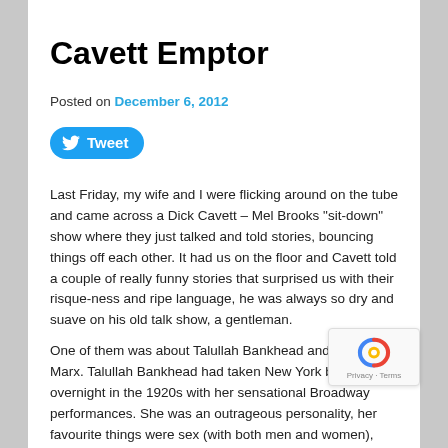Cavett Emptor
Posted on December 6, 2012
[Figure (other): Tweet button with Twitter bird icon]
Last Friday, my wife and I were flicking around on the tube and came across a Dick Cavett – Mel Brooks “sit-down” show where they just talked and told stories, bouncing things off each other.  It had us on the floor and Cavett told a couple of really funny stories that surprised us with their risque-ness and ripe language, he was always so dry and suave on his old talk show, a gentleman.
One of them was about Talullah Bankhead and Chico Marx.  Talullah Bankhead had taken New York by storm overnight in the 1920s with her sensational Broadway performances.  She was an outrageous personality, her favourite things were sex (with both men and women), cocaine (of which she said “Cocaine is not habit-forming –